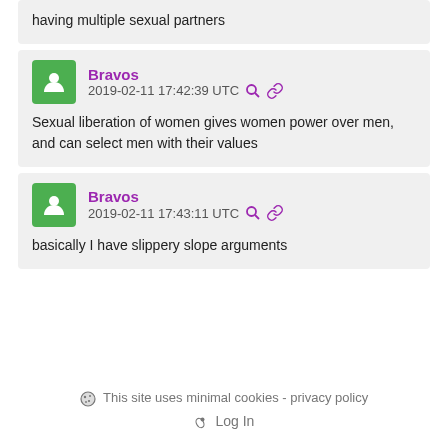having multiple sexual partners
Bravos
2019-02-11 17:42:39 UTC
Sexual liberation of women gives women power over men, and can select men with their values
Bravos
2019-02-11 17:43:11 UTC
basically I have slippery slope arguments
This site uses minimal cookies - privacy policy
Log In